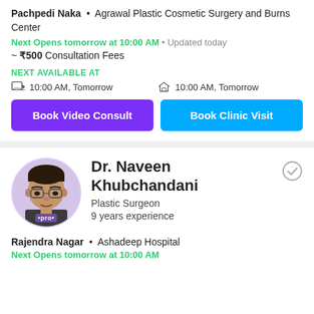Pachpedi Naka • Agrawal Plastic Cosmetic Surgery and Burns Center
Next Opens tomorrow at 10:00 AM • Updated today
~ ₹500 Consultation Fees
NEXT AVAILABLE AT
10:00 AM, Tomorrow  |  10:00 AM, Tomorrow
Book Video Consult
Book Clinic Visit
[Figure (photo): Photo of Dr. Naveen Khubchandani, a male doctor wearing glasses]
Dr. Naveen Khubchandani
Plastic Surgeon
9 years experience
Rajendra Nagar • Ashadeep Hospital
Next Opens tomorrow at 10:00 AM • Updated today